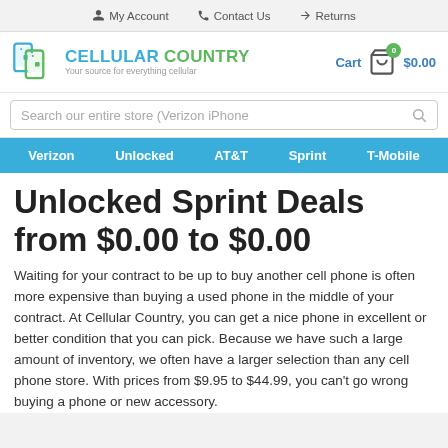My Account   Contact Us   Returns
[Figure (logo): Cellular Country logo with green phone icons and tagline 'Your source for everything cellular']
Cart 0 $0.00
Search our entire store (Verizon iPhone
Verizon   Unlocked   AT&T   Sprint   T-Mobile
Unlocked Sprint Deals from $0.00 to $0.00
Waiting for your contract to be up to buy another cell phone is often more expensive than buying a used phone in the middle of your contract. At Cellular Country, you can get a nice phone in excellent or better condition that you can pick. Because we have such a large amount of inventory, we often have a larger selection than any cell phone store. With prices from $9.95 to $44.99, you can't go wrong buying a phone or new accessory.